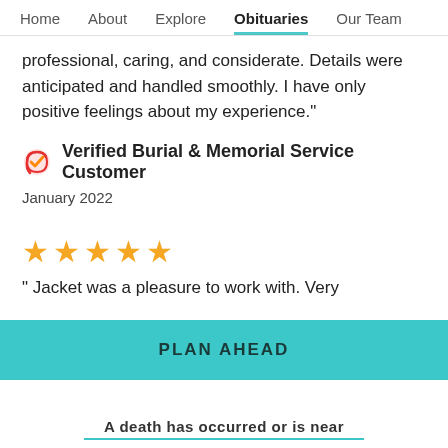Home  About  Explore  Obituaries  Our Team
professional, caring, and considerate. Details were anticipated and handled smoothly. I have only positive feelings about my experience."
✔ Verified Burial & Memorial Service Customer
January 2022
★★★★★
" Jacket was a pleasure to work with. Very
PLAN AHEAD
A death has occurred or is near